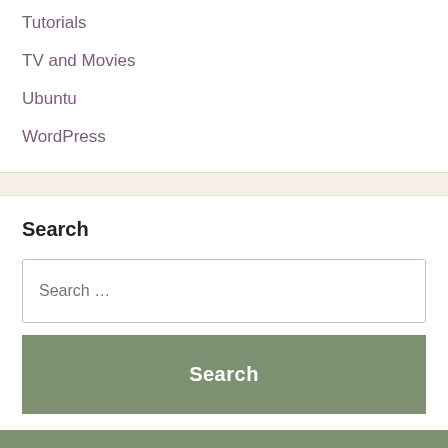Tutorials
TV and Movies
Ubuntu
WordPress
Search
Search …
Search